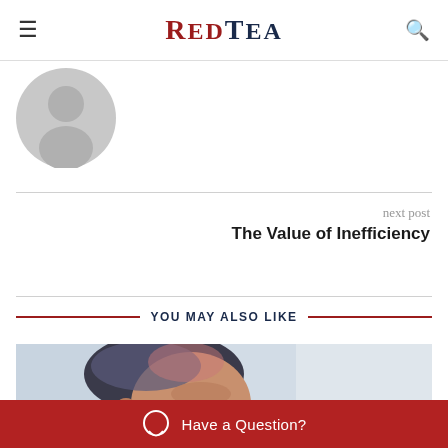RedTea
[Figure (illustration): Grey silhouette avatar / profile icon placeholder]
next post
The Value of Inefficiency
YOU MAY ALSO LIKE
[Figure (photo): Close-up side profile photo of an elderly man with grey/dark hair, outdoors with blurred background]
Have a Question?